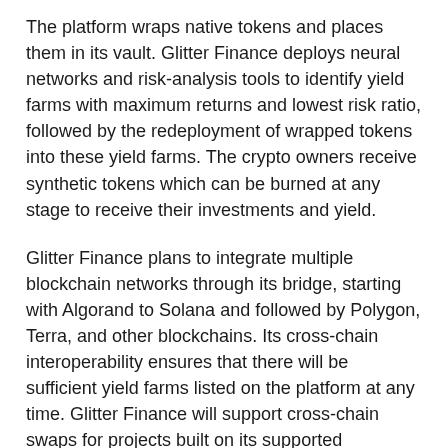The platform wraps native tokens and places them in its vault. Glitter Finance deploys neural networks and risk-analysis tools to identify yield farms with maximum returns and lowest risk ratio, followed by the redeployment of wrapped tokens into these yield farms. The crypto owners receive synthetic tokens which can be burned at any stage to receive their investments and yield.
Glitter Finance plans to integrate multiple blockchain networks through its bridge, starting with Algorand to Solana and followed by Polygon, Terra, and other blockchains. Its cross-chain interoperability ensures that there will be sufficient yield farms listed on the platform at any time. Glitter Finance will support cross-chain swaps for projects built on its supported blockchain networks.
Glitter Finance will implement a fiat-on-ramp feature that will allow non-crypto users to boost their investment returns without having to trade crypto assets. Its risk-analysis mechanism will ensure that investors can identify the risk